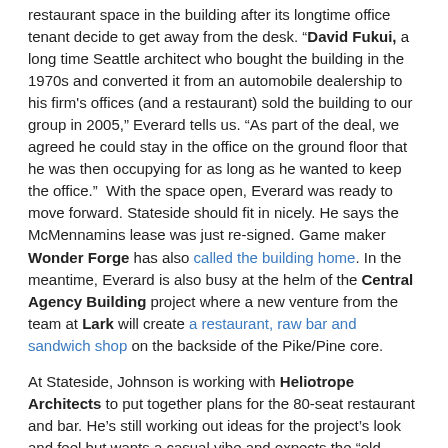restaurant space in the building after its longtime office tenant decide to get away from the desk. "David Fukui, a long time Seattle architect who bought the building in the 1970s and converted it from an automobile dealership to his firm's offices (and a restaurant) sold the building to our group in 2005," Everard tells us. "As part of the deal, we agreed he could stay in the office on the ground floor that he was then occupying for as long as he wanted to keep the office." With the space open, Everard was ready to move forward. Stateside should fit in nicely. He says the McMennamins lease was just re-signed. Game maker Wonder Forge has also called the building home. In the meantime, Everard is also busy at the helm of the Central Agency Building project where a new venture from the team at Lark will create a restaurant, raw bar and sandwich shop on the backside of the Pike/Pine core.
At Stateside, Johnson is working with Heliotrope Architects to put together plans for the 80-seat restaurant and bar. He’s still working out ideas for the project’s look and feel but wants a casual vibe and expects the “old building charm” to shine through. Stateside will start with dinner service only with plans to add lunch and brunch as things settle in.
The rest, Johnson says, is a basic focus on French-inspired Vietnamese cuisine.
“Our hopes are very simple,” Johnson said. “Make great food.”